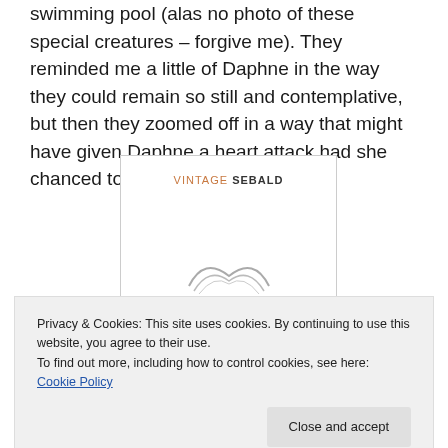swimming pool (alas no photo of these special creatures – forgive me). They reminded me a little of Daphne in the way they could remain so still and contemplative, but then they zoomed off in a way that might have given Daphne a heart attack had she chanced to see.
[Figure (illustration): Book cover image with 'VINTAGE SEBALD' text at top and a partial sketch/drawing of what appears to be a figure at the bottom]
Privacy & Cookies: This site uses cookies. By continuing to use this website, you agree to their use.
To find out more, including how to control cookies, see here: Cookie Policy
Close and accept